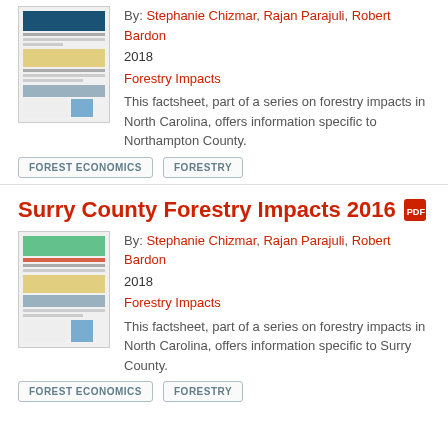By: Stephanie Chizmar, Rajan Parajuli, Robert Bardon
2018
Forestry Impacts
This factsheet, part of a series on forestry impacts in North Carolina, offers information specific to Northampton County.
FOREST ECONOMICS
FORESTRY
Surry County Forestry Impacts 2016
By: Stephanie Chizmar, Rajan Parajuli, Robert Bardon
2018
Forestry Impacts
This factsheet, part of a series on forestry impacts in North Carolina, offers information specific to Surry County.
FOREST ECONOMICS
FORESTRY